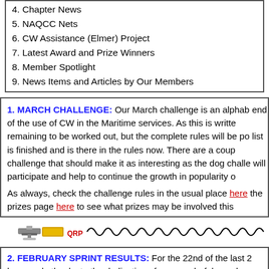4. Chapter News
5. NAQCC Nets
6. CW Assistance (Elmer) Project
7. Latest Award and Prize Winners
8. Member Spotlight
9. News Items and Articles by Our Members
1. MARCH CHALLENGE: Our March challenge is an alphabet end of the use of CW in the Maritime services. As this is written remaining to be worked out, but the complete rules will be posted list is finished and is there in the rules now. There are a couple challenge that should make it as interesting as the dog challenge will participate and help to continue the growth in popularity of
As always, check the challenge rules in the usual place here the prizes page here to see what prizes may be involved this
[Figure (illustration): Decorative divider with morse key image, QRP text in red, and wavy line]
2. FEBRUARY SPRINT RESULTS: For the 22nd of the last 2 logs mark, thanks to the dedication of our wonderful members you for making our NAQCC sprints THE greatest.
With that brief intro, we move on to state from our February